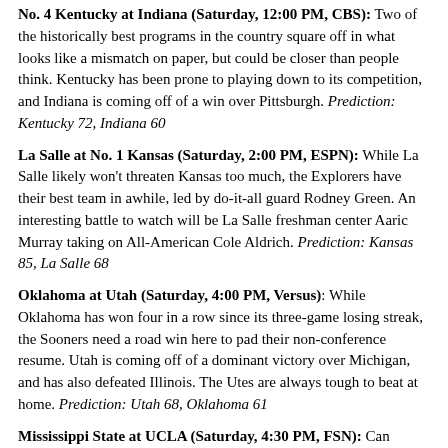No. 4 Kentucky at Indiana (Saturday, 12:00 PM, CBS): Two of the historically best programs in the country square off in what looks like a mismatch on paper, but could be closer than people think. Kentucky has been prone to playing down to its competition, and Indiana is coming off of a win over Pittsburgh. Prediction: Kentucky 72, Indiana 60
La Salle at No. 1 Kansas (Saturday, 2:00 PM, ESPN): While La Salle likely won't threaten Kansas too much, the Explorers have their best team in awhile, led by do-it-all guard Rodney Green. An interesting battle to watch will be La Salle freshman center Aaric Murray taking on All-American Cole Aldrich. Prediction: Kansas 85, La Salle 68
Oklahoma at Utah (Saturday, 4:00 PM, Versus): While Oklahoma has won four in a row since its three-game losing streak, the Sooners need a road win here to pad their non-conference resume. Utah is coming off of a dominant victory over Michigan, and has also defeated Illinois. The Utes are always tough to beat at home. Prediction: Utah 68, Oklahoma 61
Mississippi State at UCLA (Saturday, 4:30 PM, FSN): Can UCLA finally snap out of its funk with a win at home? The Bruins are struggling mightily and need to bounce back. However, Mississippi State has five players averaging in double-figures, led by shot-blocking extraordinaire Jarvis Varnado. Prediction: Mississippi State 70, UCLA 62